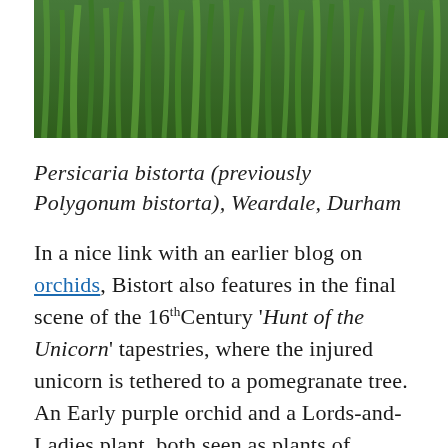[Figure (photo): Close-up photograph of green grass or plant stems, cropped at top]
Persicaria bistorta (previously Polygonum bistorta), Weardale, Durham
In a nice link with an earlier blog on orchids, Bistort also features in the final scene of the 16thCentury 'Hunt of the Unicorn' tapestries, where the injured unicorn is tethered to a pomegranate tree. An Early purple orchid and a Lords-and-Ladies plant, both seen as plants of desire, are silhouetted against the unicorn's white flank whilst next to its right forelegs is